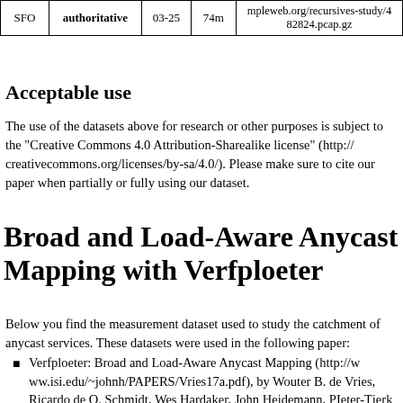|  |  |  |  |  |
| --- | --- | --- | --- | --- |
| SFO | authoritative | 03-25 | 74m | mpleweb.org/recursives-study/4
82824.pcap.gz |
Acceptable use
The use of the datasets above for research or other purposes is subject to the "Creative Commons 4.0 Attribution-Sharealike license" (http://creativecommons.org/licenses/by-sa/4.0/). Please make sure to cite our paper when partially or fully using our dataset.
Broad and Load-Aware Anycast Mapping with Verfploeter
Below you find the measurement dataset used to study the catchment of anycast services. These datasets were used in the following paper:
Verfploeter: Broad and Load-Aware Anycast Mapping (http://www.isi.edu/~johnh/PAPERS/Vries17a.pdf), by Wouter B. de Vries, Ricardo de O. Schmidt, Wes Hardaker, John Heidemann, PIeter-Tjerk de Boer and Aiko Pras. Technical Report ISI-TR-719, May 2017.